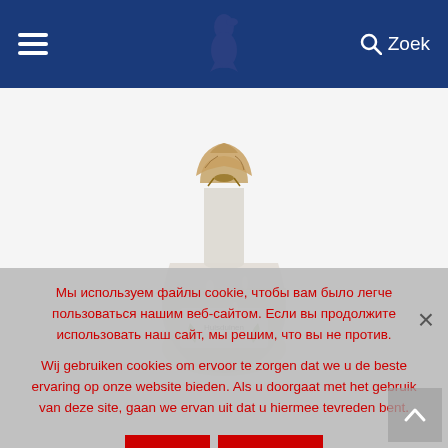[Figure (screenshot): Website navigation bar with blue background, hamburger menu on left, bird logo (blue silhouette) in center, and search icon with 'Zoek' text on right]
[Figure (photo): A frosted/condensed glass bottle with a paper/fabric cap tied with twine, resembling a traditional beverage bottle]
Мы используем файлы cookie, чтобы вам было легче пользоваться нашим веб-сайтом. Если вы продолжите использовать наш сайт, мы решим, что вы не против.
Wij gebruiken cookies om ervoor te zorgen dat we u de beste ervaring op onze website bieden. Als u doorgaat met het gebruik van deze site, gaan we ervan uit dat u hiermee tevreden bent.